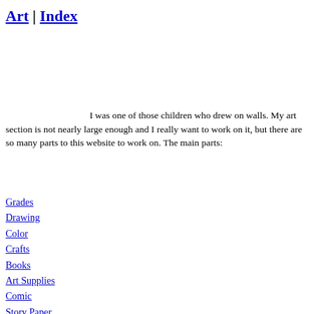Art | Index
I was one of those children who drew on walls. My art section is not nearly large enough and I really want to work on it, but there are so many parts to this website to work on. The main parts:
Grades
Drawing
Color
Crafts
Books
Art Supplies
Comic
Story Paper